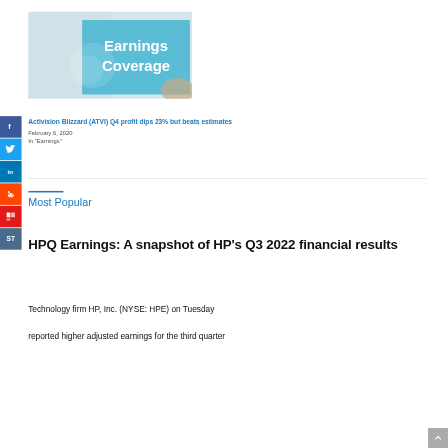[Figure (illustration): Earnings Coverage banner image with teal/blue background and white bold text reading 'Earnings Coverage', with a hand visible in the lower right]
Activision Blizzard (ATVI) Q4 profit dips 23% but beats estimates
February 6, 2020
In "Earnings"
Most Popular
HPQ Earnings: A snapshot of HP's Q3 2022 financial results
Technology firm HP, Inc. (NYSE: HPE) on Tuesday reported higher adjusted earnings for the third quarter